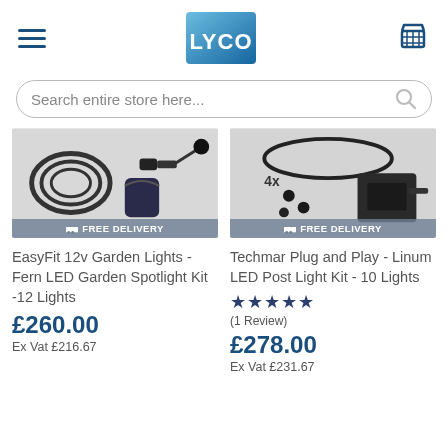LYCO — navigation header with hamburger menu, logo, and cart icon
Search entire store here...
[Figure (photo): EasyFit 12v Garden Lights - Fern LED Garden Spotlight Kit product image with FREE DELIVERY banner]
EasyFit 12v Garden Lights - Fern LED Garden Spotlight Kit -12 Lights
£260.00
Ex Vat £216.67
[Figure (photo): Techmar Plug and Play - Linum LED Post Light Kit - 10 Lights product image with 4x label and FREE DELIVERY banner]
Techmar Plug and Play - Linum LED Post Light Kit - 10 Lights
★★★★★ (1 Review)
£278.00
Ex Vat £231.67